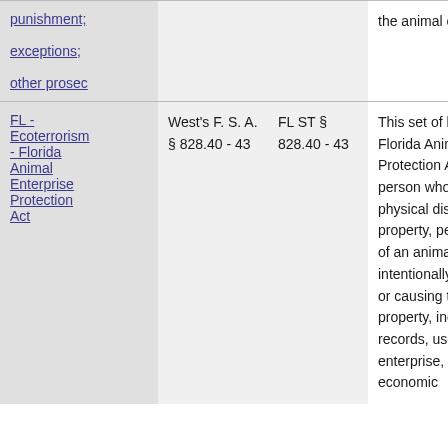| Law/Topic | Source | Citation | Description |
| --- | --- | --- | --- |
| punishment; exceptions; other prosec |  | the animal enclosures. |  |
| FL - Ecoterrorism - Florida Animal Enterprise Protection Act | West's F. S. A. § 828.40 - 43 | FL ST § 828.40 - 43 | This set of laws comprises the Florida Animal Enterprise Protection Act. Under the Act, a person who intentionally causes physical disruption to the property, personnel, or operations of an animal enterprise by intentionally stealing, damaging, or causing the loss of, any property, including animals or records, used by the animal enterprise, and thereby causes economic |